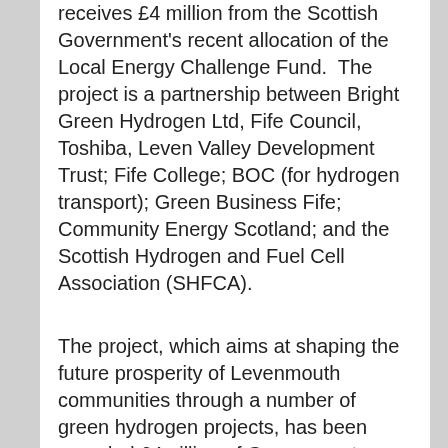receives £4 million from the Scottish Government's recent allocation of the Local Energy Challenge Fund.  The project is a partnership between Bright Green Hydrogen Ltd, Fife Council, Toshiba, Leven Valley Development Trust; Fife College; BOC (for hydrogen transport); Green Business Fife; Community Energy Scotland; and the Scottish Hydrogen and Fuel Cell Association (SHFCA).
The project, which aims at shaping the future prosperity of Levenmouth communities through a number of green hydrogen projects, has been awarded £4million of Government funding. Based at the Hydrogen Office in Methil and run by Bright Green Hydrogen, the new scheme involves the facility being developed into the world's foremost demonstrator of innovative